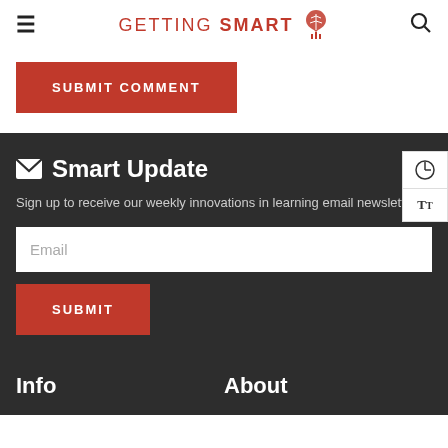GETTING SMART
SUBMIT COMMENT
Smart Update
Sign up to receive our weekly innovations in learning email newsletter:
Email
SUBMIT
Info
About